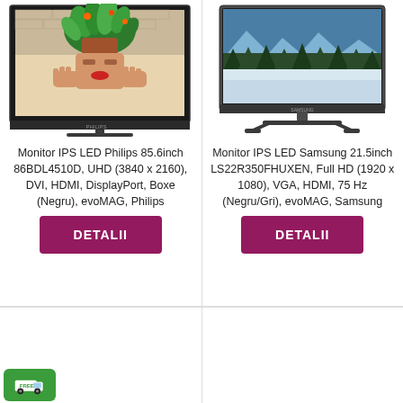[Figure (photo): Philips monitor showing a woman with plants on her head artwork]
Monitor IPS LED Philips 85.6inch 86BDL4510D, UHD (3840 x 2160), DVI, HDMI, DisplayPort, Boxe (Negru), evoMAG, Philips
DETALII
[Figure (photo): Samsung monitor showing a winter forest landscape]
Monitor IPS LED Samsung 21.5inch LS22R350FHUXEN, Full HD (1920 x 1080), VGA, HDMI, 75 Hz (Negru/Gri), evoMAG, Samsung
DETALII
[Figure (logo): Green free delivery badge with truck icon]